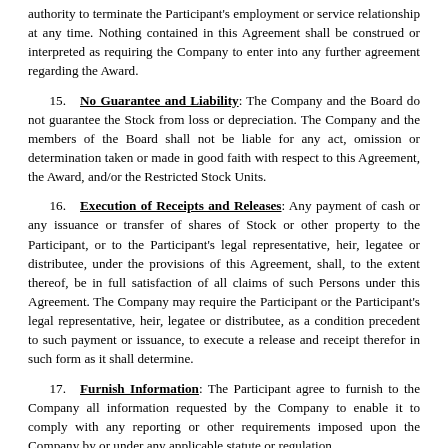authority to terminate the Participant's employment or service relationship at any time. Nothing contained in this Agreement shall be construed or interpreted as requiring the Company to enter into any further agreement regarding the Award.
15. No Guarantee and Liability: The Company and the Board do not guarantee the Stock from loss or depreciation. The Company and the members of the Board shall not be liable for any act, omission or determination taken or made in good faith with respect to this Agreement, the Award, and/or the Restricted Stock Units.
16. Execution of Receipts and Releases: Any payment of cash or any issuance or transfer of shares of Stock or other property to the Participant, or to the Participant's legal representative, heir, legatee or distributee, under the provisions of this Agreement, shall, to the extent thereof, be in full satisfaction of all claims of such Persons under this Agreement. The Company may require the Participant or the Participant's legal representative, heir, legatee or distributee, as a condition precedent to such payment or issuance, to execute a release and receipt therefor in such form as it shall determine.
17. Furnish Information: The Participant agree to furnish to the Company all information requested by the Company to enable it to comply with any reporting or other requirements imposed upon the Company by or under any applicable statute or regulation.
18. Company Records: Records of the Company or its Subsidiaries regarding the Participant's period of service, termination of service and the reason(s) therefor, and other matters shall be conclusive for all purposes